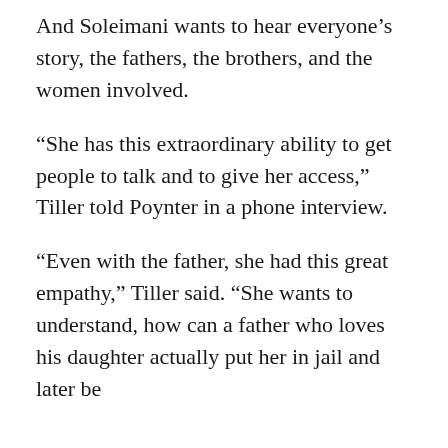And Soleimani wants to hear everyone's story, the fathers, the brothers, and the women involved.
“She has this extraordinary ability to get people to talk and to give her access,” Tiller told Poynter in a phone interview.
“Even with the father, she had this great empathy,” Tiller said. “She wants to understand, how can a father who loves his daughter actually put her in jail and later be